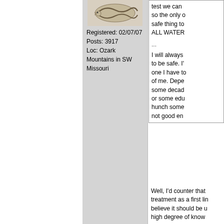[Figure (illustration): Forum user avatar - decorative illustration of a snake or similar creature]
Registered: 02/07/07
Posts: 3917
Loc: Ozark Mountains in SW Missouri
test we can so the only safe thing to ALL WATER
...
I will always to be safe. I' one I have to of me. Depe some decad or some edu hunch some not good en
Well, I'd counter that treatment as a first li believe it should be u high degree of know

One of the ways a bo is by exposure to sm substance that cause are many, many, peo to Giardia variations they live. ( one of ma )